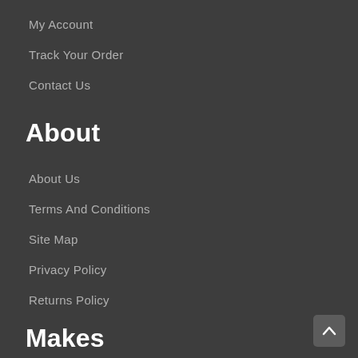My Account
Track Your Order
Contact Us
About
About Us
Terms And Conditions
Site Map
Privacy Policy
Returns Policy
Makes
Toyota
Ford
Nissan